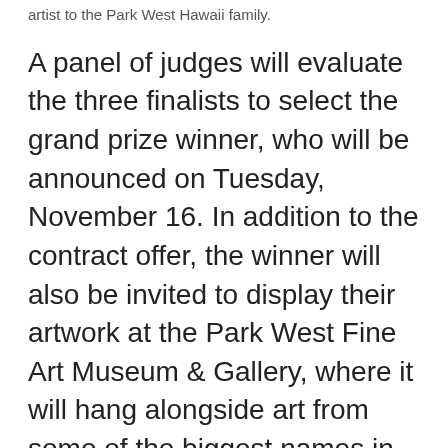artist to the Park West Hawaii family.
A panel of judges will evaluate the three finalists to select the grand prize winner, who will be announced on Tuesday, November 16. In addition to the contract offer, the winner will also be invited to display their artwork at the Park West Fine Art Museum & Gallery, where it will hang alongside art from some of the biggest names in art history, including Pablo Picasso, Rembrandt van Rijn, Pierre-Auguste Renoir, and others.
Park West Hawaii, located at the famous Waikiki Beach Walk, is open daily from 11 am to 9 pm. For more information, visit